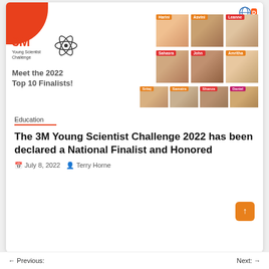[Figure (photo): 3M Young Scientist Challenge 2022 Top 10 Finalists promotional image showing 10 students (Harini, Asvini, Leanne, Sahasra, John, Amritha, Sritej, Samaira, Shanza, Daniel) with the 3M Young Scientist Challenge branding and Discovery Education logo]
Education
The 3M Young Scientist Challenge 2022 has been declared a National Finalist and Honored
July 8, 2022   Terry Horne
Previous:   Next: